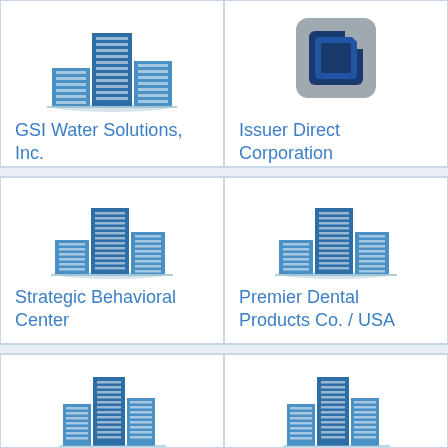[Figure (logo): Generic blue building/office tower logo for GSI Water Solutions]
GSI Water Solutions, Inc.
[Figure (logo): Square bracket / document icon logo for Issuer Direct Corporation]
Issuer Direct Corporation
Technology company
[Figure (logo): Generic blue building/office tower logo for Strategic Behavioral Center]
Strategic Behavioral Center
[Figure (logo): Generic blue building/office tower logo for Premier Dental Products Co. / USA]
Premier Dental Products Co. / USA
[Figure (logo): Generic blue building/office tower logo (partial, bottom row left)]
[Figure (logo): Generic blue building/office tower logo (partial, bottom row right)]